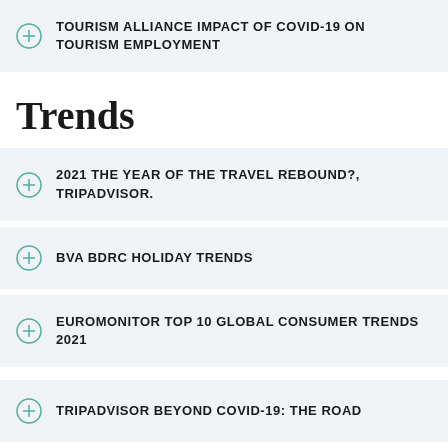TOURISM ALLIANCE IMPACT OF COVID-19 ON TOURISM EMPLOYMENT
Trends
2021 THE YEAR OF THE TRAVEL REBOUND?, TRIPADVISOR.
BVA BDRC HOLIDAY TRENDS
EUROMONITOR TOP 10 GLOBAL CONSUMER TRENDS 2021
TRIPADVISOR BEYOND COVID-19: THE ROAD